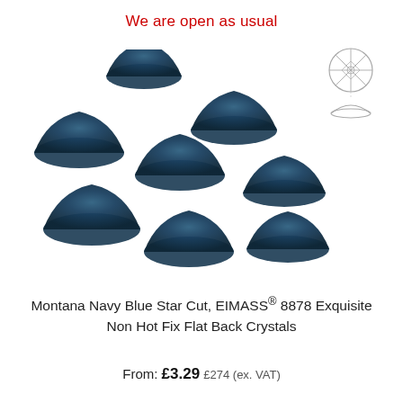We are open as usual
[Figure (photo): Eight navy blue star-cut flat back crystals arranged in a scattered pattern, plus a line drawing diagram of a flat back crystal (top and side view) in the upper right corner]
Montana Navy Blue Star Cut, EIMASS® 8878 Exquisite Non Hot Fix Flat Back Crystals
From: £3.29 £274 (ex. VAT)